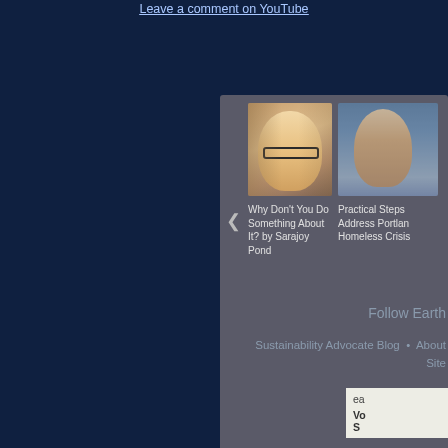Leave a comment on YouTube
[Figure (screenshot): A carousel widget with a navigation arrow and two video thumbnails. First thumbnail shows a woman with glasses and blonde hair with text: Why Don't You Do Something About It? by Sarajoy Pond. Second thumbnail shows a person with longer hair partially visible with text: Practical Steps Address Portlan Homeless Crisis]
Follow Earth
Sustainability Advocate Blog • About Site
ea Vo S